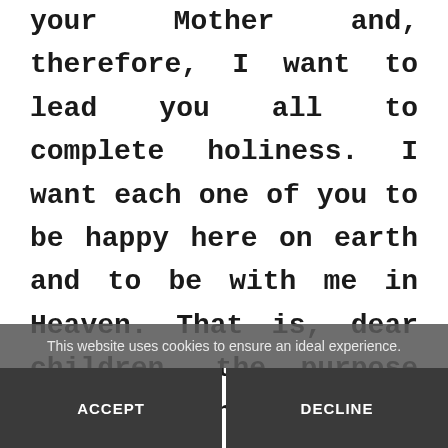your Mother and, therefore, I want to lead you all to complete holiness. I want each one of you to be happy here on earth and to be with me in Heaven. That is, dear children, the purpose of my coming here and it's my desire. Thank you for having responded
This website uses cookies to ensure an ideal experience.
ACCEPT
DECLINE